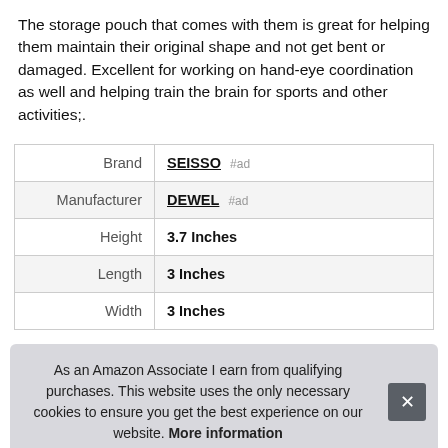The storage pouch that comes with them is great for helping them maintain their original shape and not get bent or damaged. Excellent for working on hand-eye coordination as well and helping train the brain for sports and other activities;.
| Brand | SEISSO #ad |
| Manufacturer | DEWEL #ad |
| Height | 3.7 Inches |
| Length | 3 Inches |
| Width | 3 Inches |
As an Amazon Associate I earn from qualifying purchases. This website uses the only necessary cookies to ensure you get the best experience on our website. More information